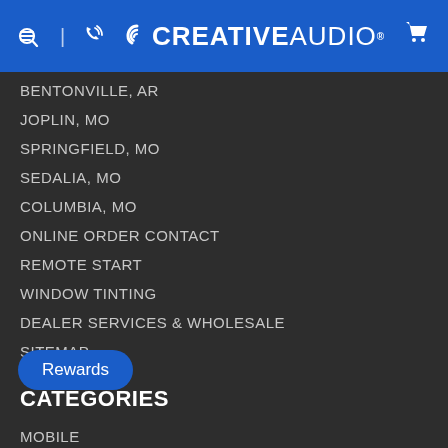Creative Audio
BENTONVILLE, AR
JOPLIN, MO
SPRINGFIELD, MO
SEDALIA, MO
COLUMBIA, MO
ONLINE ORDER CONTACT
REMOTE START
WINDOW TINTING
DEALER SERVICES & WHOLESALE
SITEMAP
CATEGORIES
MOBILE
MARINE & POWERSPORTS
HOME & LAND
SALE